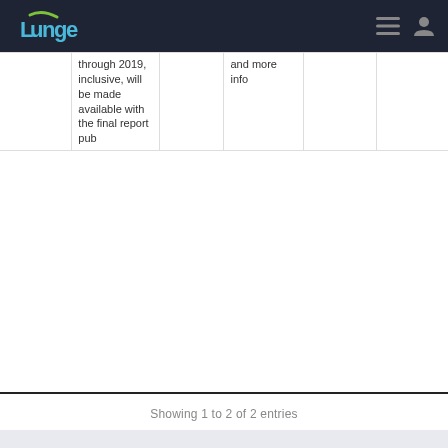Lunge navigation header
|  |  |  |  |  |  |
| --- | --- | --- | --- | --- | --- |
| through 2019, inclusive, will be made available with the final report pub |  | and more info |  |  |  |
Showing 1 to 2 of 2 entries
Previous  1  Next